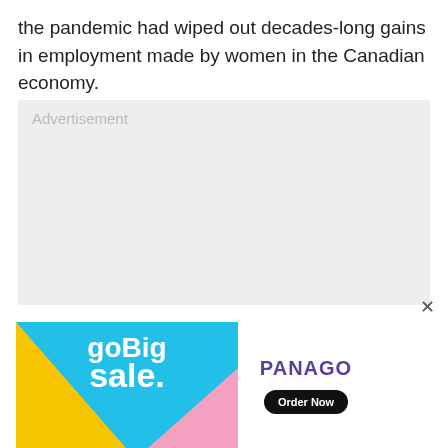the pandemic had wiped out decades-long gains in employment made by women in the Canadian economy.
[Figure (other): Advertisement placeholder box with light grey background and text 'Advertisement']
[Figure (other): Panago 'Go Big Sale' advertisement banner with blue, yellow, and pink triangles on left side and PANAGO logo with 'Order Now' button on white right side]